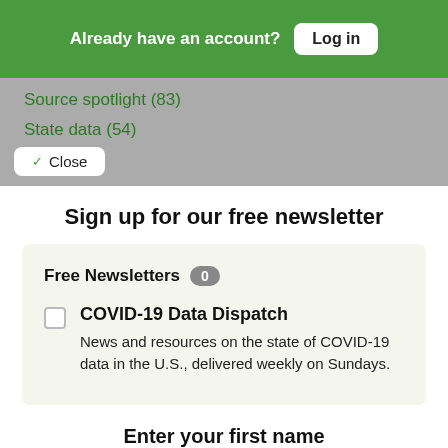Already have an account? Log in
Source spotlight (83)
State data (54)
Close
Sign up for our free newsletter
Free Newsletters 0
COVID-19 Data Dispatch
News and resources on the state of COVID-19 data in the U.S., delivered weekly on Sundays.
Enter your first name